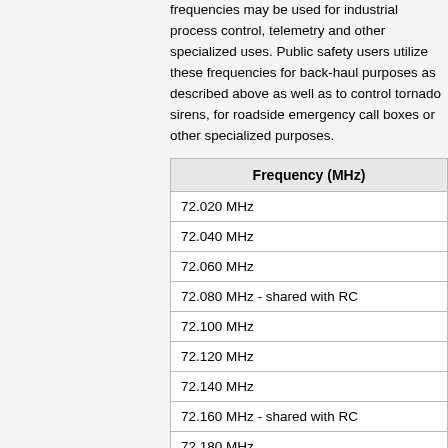frequencies may be used for industrial process control, telemetry and other specialized uses. Public safety users utilize these frequencies for back-haul purposes as described above as well as to control tornado sirens, for roadside emergency call boxes or other specialized purposes.
| Frequency (MHz) |
| --- |
| 72.020 MHz |
| 72.040 MHz |
| 72.060 MHz |
| 72.080 MHz - shared with RC |
| 72.100 MHz |
| 72.120 MHz |
| 72.140 MHz |
| 72.160 MHz - shared with RC |
| 72.180 MHz |
| 72.200 MHz |
| 72.220 MHz |